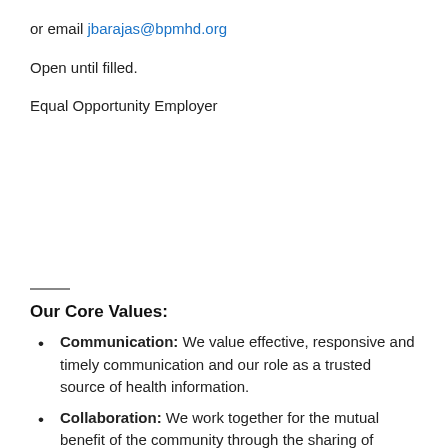or email jbarajas@bpmhd.org
Open until filled.
Equal Opportunity Employer
Our Core Values:
Communication: We value effective, responsive and timely communication and our role as a trusted source of health information.
Collaboration: We work together for the mutual benefit of the community through the sharing of information, resources and ideas to achieve a common goal.